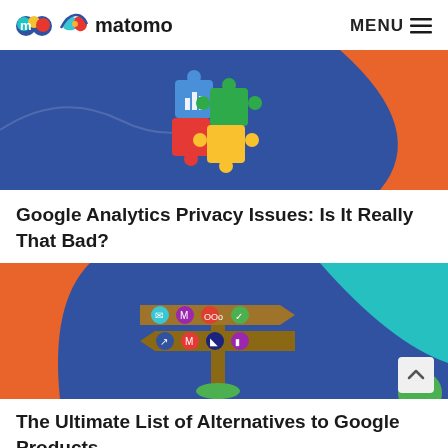matomo   MENU
[Figure (illustration): Blue and orange background with colorful puzzle pieces (blue, green, red, yellow) with a bar chart icon on the blue piece — header image for Google Analytics Privacy Issues article]
Google Analytics Privacy Issues: Is It Really That Bad?
[Figure (illustration): Blue and orange background with a wooden signpost showing icons of various Google product alternatives (email, maps, calendar, etc.) — header image for Ultimate List of Alternatives to Google Products article]
The Ultimate List of Alternatives to Google Products